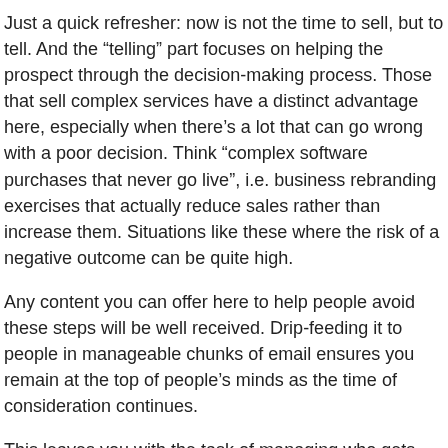Just a quick refresher: now is not the time to sell, but to tell. And the “telling” part focuses on helping the prospect through the decision-making process. Those that sell complex services have a distinct advantage here, especially when there’s a lot that can go wrong with a poor decision. Think “complex software purchases that never go live”, i.e. business rebranding exercises that actually reduce sales rather than increase them. Situations like these where the risk of a negative outcome can be quite high.
Any content you can offer here to help people avoid these steps will be well received. Drip-feeding it to people in manageable chunks of email ensures you remain at the top of people’s minds as the time of consideration continues.
This leaves you with the task of managing who gets what and when. Thankfully there’s a range of technology to make this a breeze.